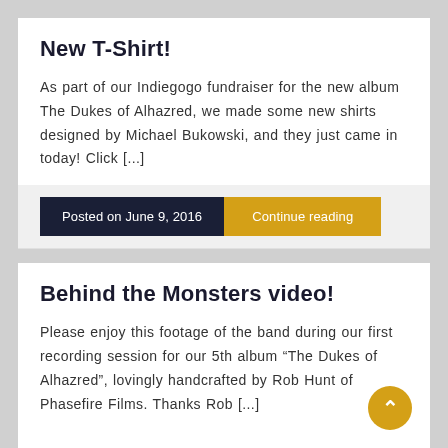New T-Shirt!
As part of our Indiegogo fundraiser for the new album The Dukes of Alhazred, we made some new shirts designed by Michael Bukowski, and they just came in today! Click [...]
Posted on June 9, 2016
Continue reading
Behind the Monsters video!
Please enjoy this footage of the band during our first recording session for our 5th album “The Dukes of Alhazred”, lovingly handcrafted by Rob Hunt of Phasefire Films. Thanks Rob [...]